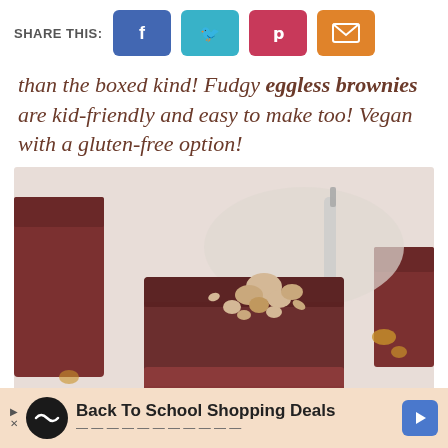SHARE THIS:
than the boxed kind! Fudgy eggless brownies are kid-friendly and easy to make too! Vegan with a gluten-free option!
[Figure (photo): Close-up photo of a fudgy chocolate brownie topped with chopped hazelnuts, with more brownies in the blurred background and a knife visible]
Back To School Shopping Deals